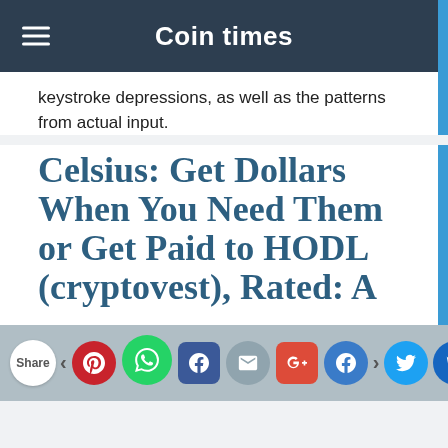Coin times
keystroke depressions, as well as the patterns from actual input.
Celsius: Get Dollars When You Need Them or Get Paid to HODL (cryptovest), Rated: A
Share